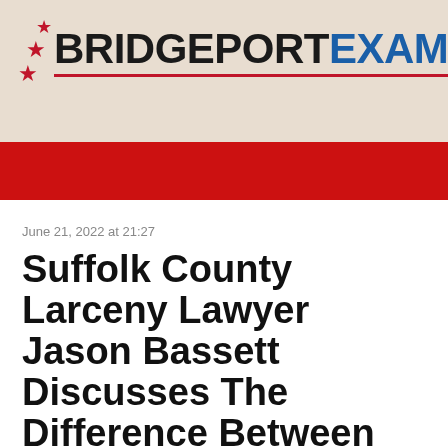[Figure (logo): Bridgeport Examiner newspaper logo with three red stars and the publication name in black and blue text on a beige background with red bar below]
June 21, 2022 at 21:27
Suffolk County Larceny Lawyer Jason Bassett Discusses The Difference Between Petit and Grand